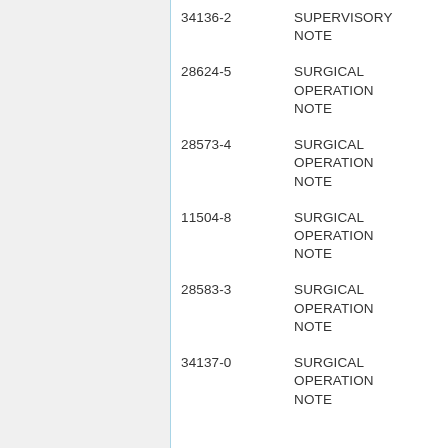| Code | Description | Setting |
| --- | --- | --- |
| 34136-2 | SUPERVISORY NOTE | OUTPATI... |
| 28624-5 | SURGICAL OPERATION NOTE | {SETTING... |
| 28573-4 | SURGICAL OPERATION NOTE | {SETTING... |
| 11504-8 | SURGICAL OPERATION NOTE | {SETTING... |
| 28583-3 | SURGICAL OPERATION NOTE | {SETTING... |
| 34137-0 | SURGICAL OPERATION NOTE | OUTPATI... |